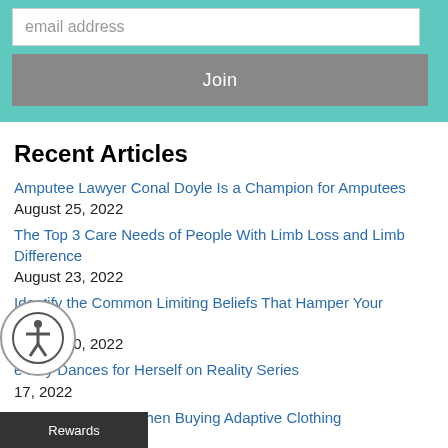[Figure (screenshot): Email input field with placeholder text 'email address' on teal background]
[Figure (screenshot): Gray 'Join' button on teal background]
Recent Articles
Amputee Lawyer Conal Doyle Is a Champion for Amputees
August 25, 2022
The Top 3 Care Needs of People With Limb Loss and Limb Difference
August 23, 2022
Identify the Common Limiting Beliefs That Hamper Your Growth
August 20, 2022
...e Day Dances for Herself on Reality Series
August 17, 2022
What To Look for When Buying Adaptive Clothing
August 14, 2022